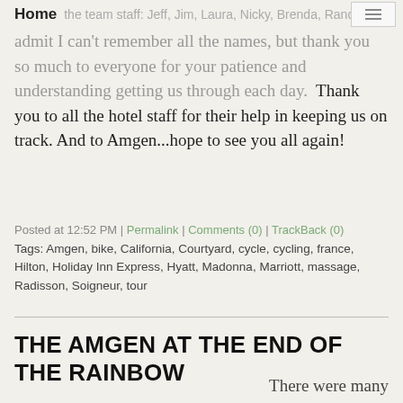Home | the team staff: Jeff, Jim, Laura, Nicky, Brenda, Randy [nav]
admit I can't remember all the names, but thank you so much to everyone for your patience and understanding getting us through each day.  Thank you to all the hotel staff for their help in keeping us on track. And to Amgen...hope to see you all again!
Posted at 12:52 PM | Permalink | Comments (0) | TrackBack (0)
Tags: Amgen, bike, California, Courtyard, cycle, cycling, france, Hilton, Holiday Inn Express, Hyatt, Madonna, Marriott, massage, Radisson, Soigneur, tour
THE AMGEN AT THE END OF THE RAINBOW
There were many